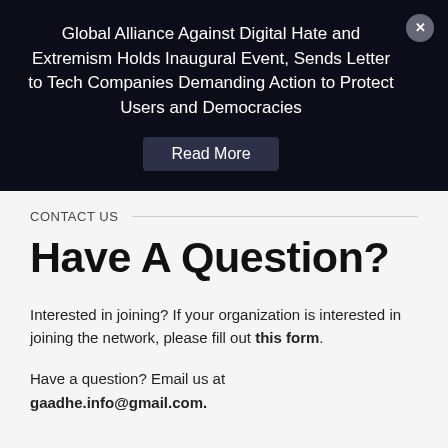Global Alliance Against Digital Hate and Extremism Holds Inaugural Event, Sends Letter to Tech Companies Demanding Action to Protect Users and Democracies
Read More
CONTACT US
Have A Question?
Interested in joining? If your organization is interested in joining the network, please fill out this form.
Have a question? Email us at gaadhe.info@gmail.com.